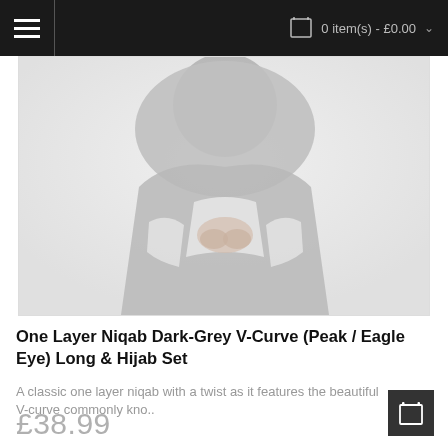0 item(s) - £0.00
[Figure (photo): A person wearing a grey niqab and hijab set, hands clasped at chest, blurred background]
One Layer Niqab Dark-Grey V-Curve (Peak / Eagle Eye) Long & Hijab Set
A classic one layer niqab with a twist as it features the beautiful V-curve commonly kno..
£38.99